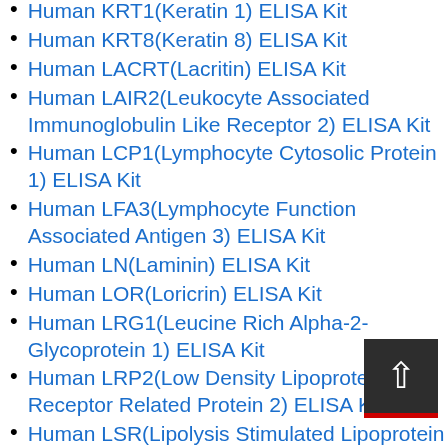Human KRT1(Keratin 1) ELISA Kit
Human KRT8(Keratin 8) ELISA Kit
Human LACRT(Lacritin) ELISA Kit
Human LAIR2(Leukocyte Associated Immunoglobulin Like Receptor 2) ELISA Kit
Human LCP1(Lymphocyte Cytosolic Protein 1) ELISA Kit
Human LFA3(Lymphocyte Function Associated Antigen 3) ELISA Kit
Human LN(Laminin) ELISA Kit
Human LOR(Loricrin) ELISA Kit
Human LRG1(Leucine Rich Alpha-2-Glycoprotein 1) ELISA Kit
Human LRP2(Low Density Lipoprotein Receptor Related Protein 2) ELISA Kit
Human LSR(Lipolysis Stimulated Lipoprotein Receptor) ELISA Kit